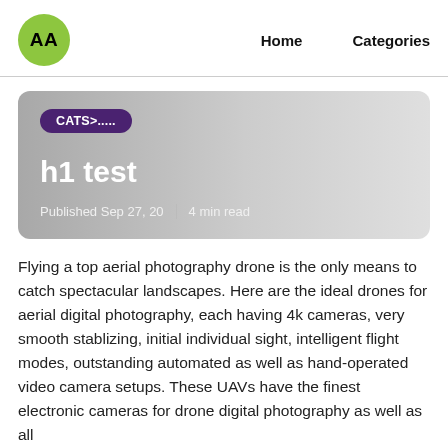AA  Home  Categories
h1 test
CATS>.....
Published Sep 27, 20  |  4 min read
Flying a top aerial photography drone is the only means to catch spectacular landscapes. Here are the ideal drones for aerial digital photography, each having 4k cameras, very smooth stablizing, initial individual sight, intelligent flight modes, outstanding automated as well as hand-operated video camera setups. These UAVs have the finest electronic cameras for drone digital photography as well as all